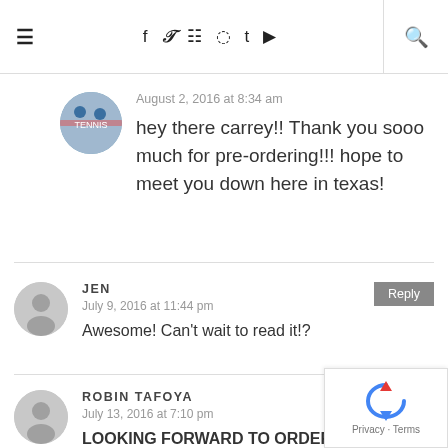≡  f  Twitter  Instagram  Pinterest  t  YouTube  🔍
August 2, 2016 at 8:34 am
hey there carrey!! Thank you sooo much for pre-ordering!!! hope to meet you down here in texas!
JEN
July 9, 2016 at 11:44 pm
Awesome! Can't wait to read it!?
ROBIN TAFOYA
July 13, 2016 at 7:10 pm
LOOKING FORWARD TO ORDERING AND READING